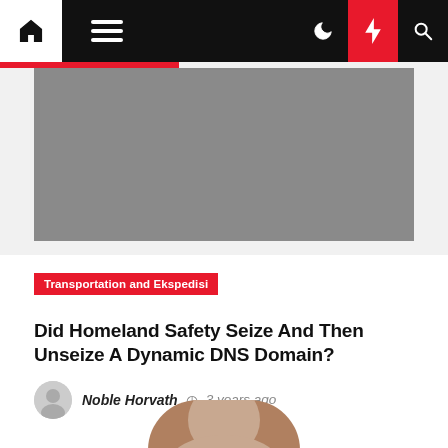Navigation bar with home, menu, dark mode, lightning, and search icons
[Figure (photo): Gray placeholder hero image]
Transportation and Ekspedisi
Did Homeland Safety Seize And Then Unseize A Dynamic DNS Domain?
Noble Horvath  3 years ago
[Figure (photo): Partial photo of a person at the bottom of the page]